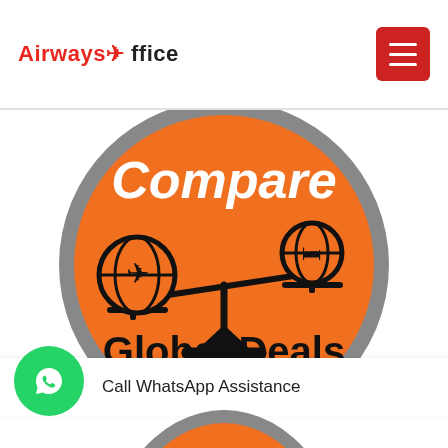Airways Office
[Figure (illustration): Orange circle with gray border containing a balance/scale illustration. Left pan holds a globe with airplane icon, right pan holds a smaller globe with bed/hotel icon. Text 'Compare' in large white italic font at top, 'Global Deals' in large black bold font at bottom of the circle.]
Call WhatsApp Assistance
[Figure (illustration): Partial orange circle visible at bottom of page, cut off by page edge.]